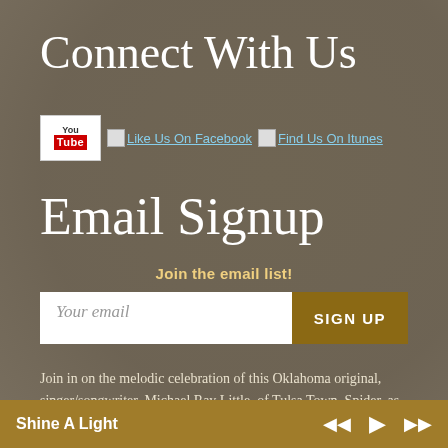Connect With Us
[Figure (screenshot): Social media icons row: YouTube logo box, 'Like Us On Facebook' link with broken image placeholder, 'Find Us On Itunes' link with broken image placeholder]
Email Signup
Join the email list!
Your email [input field] SIGN UP [button]
Join in on the melodic celebration of this Oklahoma original, singer/songwriter, Michael Ray Little, of Tulsa Town. Spider, as
Shine A Light